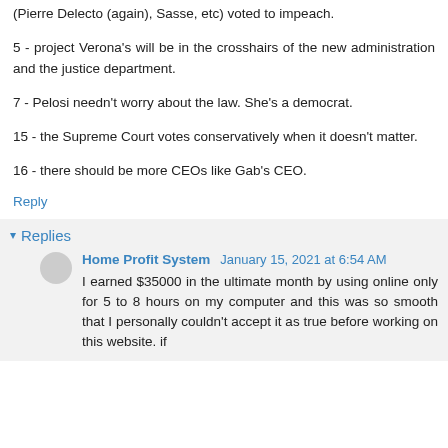(Pierre Delecto (again), Sasse, etc) voted to impeach.
5 - project Verona's will be in the crosshairs of the new administration and the justice department.
7 - Pelosi needn't worry about the law. She's a democrat.
15 - the Supreme Court votes conservatively when it doesn't matter.
16 - there should be more CEOs like Gab's CEO.
Reply
Replies
Home Profit System January 15, 2021 at 6:54 AM
I earned $35000 in the ultimate month by using online only for 5 to 8 hours on my computer and this was so smooth that I personally couldn't accept it as true before working on this website. if